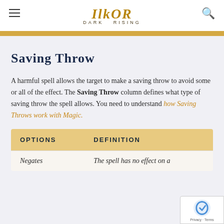ILKOR DARK RISING
Saving Throw
A harmful spell allows the target to make a saving throw to avoid some or all of the effect. The Saving Throw column defines what type of saving throw the spell allows. You need to understand how Saving Throws work with Magic.
| OPTIONS | DEFINITION |
| --- | --- |
| Negates | The spell has no effect on a |